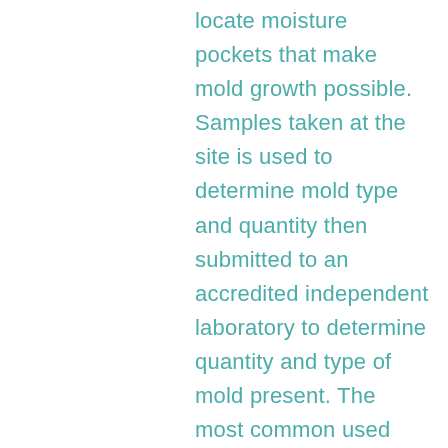locate moisture pockets that make mold growth possible. Samples taken at the site is used to determine mold type and quantity then submitted to an accredited independent laboratory to determine quantity and type of mold present. The most common used medias are air cartridge's, swabs and tape, which one will be used depends mainly on the purpose of the test, suitability and condition to location. We are here to Help!!